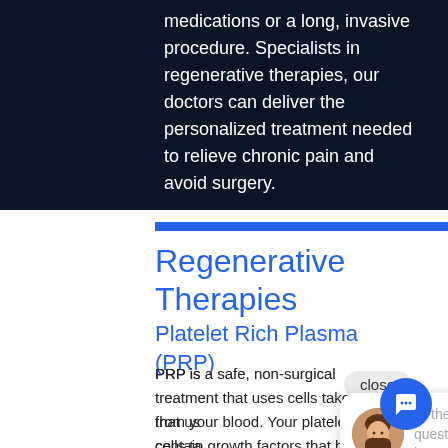medications or a long, invasive procedure. Specialists in regenerative therapies, our doctors can deliver the personalized treatment needed to relieve chronic pain and avoid surgery.
[Figure (screenshot): Blue horizontal accent bar]
Regenerative Therapies
Platelet Rich Plasma (PRP)
PRP is a safe, non-surgical treatment that uses cells taken from your blood. Your platelets contain growth factors that help a wide range of conditions and areas of pain. By injecting PRP into areas of an injury, the procedure uses the patient's own body's ability to help heal these chronic conditions.
[Figure (screenshot): Live chat widget overlay with avatar of a woman smiling, text reading 'Hi there, have a question? Text us here.' and a blue chat icon button at the bottom right.]